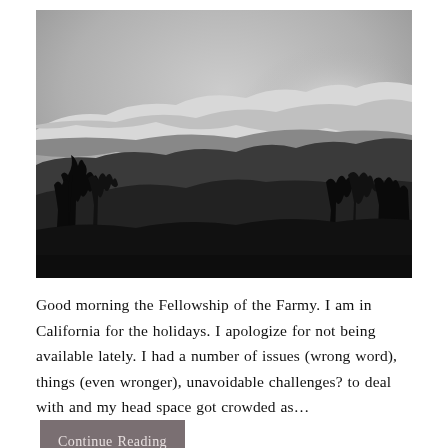[Figure (photo): Black and white landscape photograph showing a dramatic sky with clouds over a silhouetted treeline and hills. Dark tree silhouettes on the left and right, with a wide open sky above and rolling dark terrain below.]
Good morning the Fellowship of the Farmy. I am in California for the holidays. I apologize for not being available lately. I had a number of issues (wrong word), things (even wronger), unavoidable challenges? to deal with and my head space got crowded as…
Continue Reading